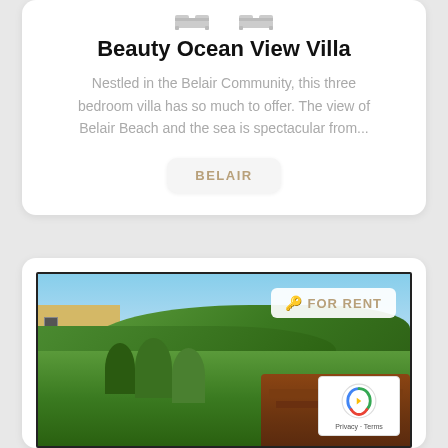Beauty Ocean View Villa
Nestled in the Belair Community, this three bedroom villa has so much to offer. The view of Belair Beach and the sea is spectacular from...
BELAIR
[Figure (photo): Exterior photo of a property for rent showing a yellow building on the left, lush green tropical hillside vegetation, a wooden bench/chair in the foreground, and a 'FOR RENT' badge overlaid in the top right corner. A reCAPTCHA widget with Privacy and Terms links appears in the bottom right corner.]